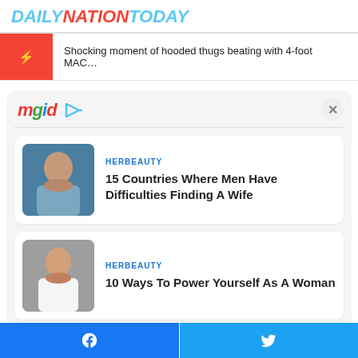DAILYNATIONTODAY
Shocking moment of hooded thugs beating with 4-foot MAC…
[Figure (logo): mgid logo with play button icon]
HERBEAUTY
15 Countries Where Men Have Difficulties Finding A Wife
[Figure (photo): Photo of a man shirtless near water]
HERBEAUTY
10 Ways To Power Yourself As A Woman
[Figure (photo): Photo of a woman in white off-shoulder top]
Facebook | Twitter